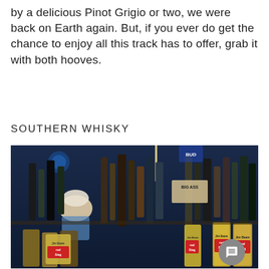by a delicious Pinot Grigio or two, we were back on Earth again. But, if you ever do get the chance to enjoy all this track has to offer, grab it with both hooves.
SOUTHERN WHISKY
[Figure (photo): A crowded bar shelf filled with many bottles of whisky and spirits, including multiple Jim Beam Red Stag bottles in the foreground and a BIG ASS label visible in the middle. A person with short blonde/white hair is partially visible behind the bottles on the left side.]